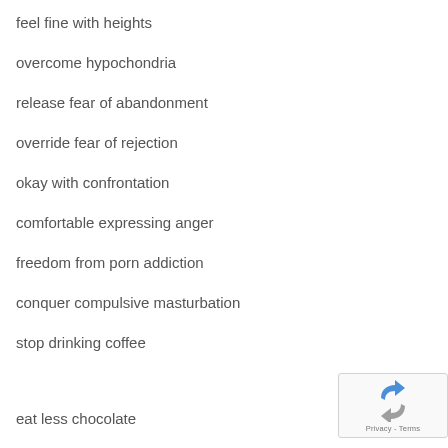feel fine with heights
overcome hypochondria
release fear of abandonment
override fear of rejection
okay with confrontation
comfortable expressing anger
freedom from porn addiction
conquer compulsive masturbation
stop drinking coffee
eat less chocolate
[Figure (logo): Google reCAPTCHA badge with logo and Privacy - Terms text]